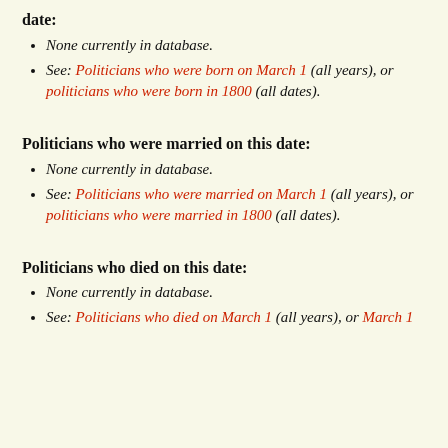date:
None currently in database.
See: Politicians who were born on March 1 (all years), or politicians who were born in 1800 (all dates).
Politicians who were married on this date:
None currently in database.
See: Politicians who were married on March 1 (all years), or politicians who were married in 1800 (all dates).
Politicians who died on this date:
None currently in database.
See: Politicians who died on March 1 (all years), or